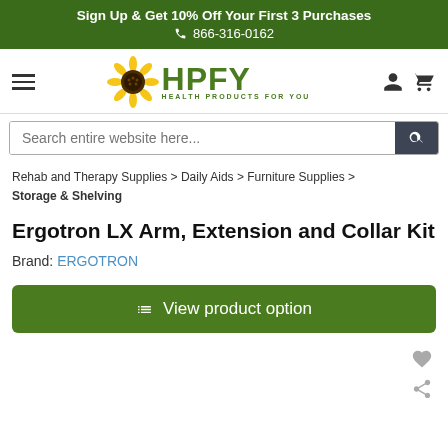Sign Up & Get 10% Off Your First 3 Purchases
☎ 866-316-0162
[Figure (logo): HPFY Health Products For You logo with sunflower]
Search entire website here...
Rehab and Therapy Supplies > Daily Aids > Furniture Supplies > Storage & Shelving
Ergotron LX Arm, Extension and Collar Kit
Brand: ERGOTRON
View product option